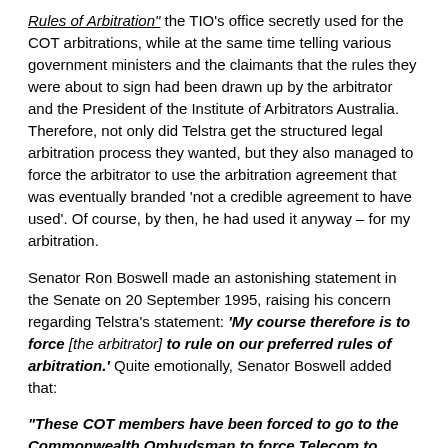Rules of Arbitration" the TIO's office secretly used for the COT arbitrations, while at the same time telling various government ministers and the claimants that the rules they were about to sign had been drawn up by the arbitrator and the President of the Institute of Arbitrators Australia. Therefore, not only did Telstra get the structured legal arbitration process they wanted, but they also managed to force the arbitrator to use the arbitration agreement that was eventually branded 'not a credible agreement to have used'. Of course, by then, he had used it anyway – for my arbitration.
Senator Ron Boswell made an astonishing statement in the Senate on 20 September 1995, raising his concern regarding Telstra's statement: 'My course therefore is to force [the arbitrator] to rule on our preferred rules of arbitration.' Quite emotionally, Senator Boswell added that:
"These COT members have been forced to go to the Commonwealth Ombudsman to force Telecom to comply with the law. Not only were they being denied all necessary documents to mount their case against Telecom, causing much delay, but they were denied access to documents that could have influenced them when negotiating the arbitration rules and even in whether to enter